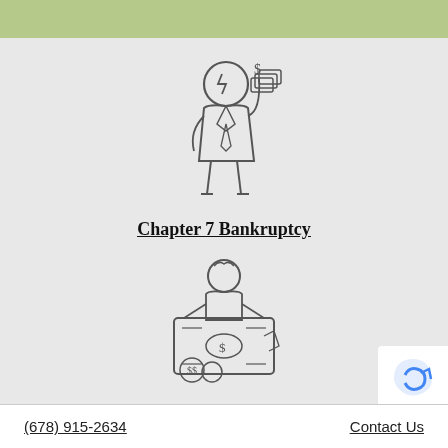[Figure (illustration): Green header bar at top of page]
[Figure (illustration): Line art icon of a businessman in a suit holding cash with a dollar sign, representing Chapter 7 Bankruptcy]
Chapter 7 Bankruptcy
[Figure (illustration): Line art icon of a person holding a large banknote with coins, representing Chapter 13 Bankruptcy]
Chapter 13 Bankruptcy
[Figure (illustration): Line art icon of a money bag with dollar sign and a calendar/check, partially visible at bottom]
(678) 915-2634    Contact Us